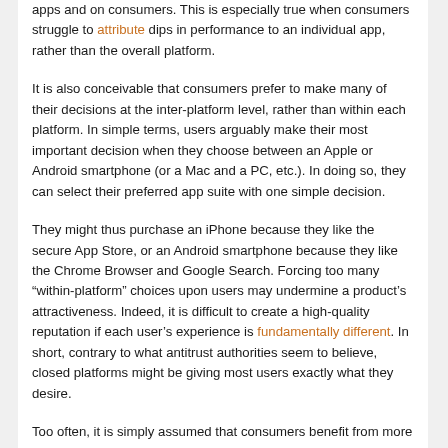apps and on consumers. This is especially true when consumers struggle to attribute dips in performance to an individual app, rather than the overall platform.
It is also conceivable that consumers prefer to make many of their decisions at the inter-platform level, rather than within each platform. In simple terms, users arguably make their most important decision when they choose between an Apple or Android smartphone (or a Mac and a PC, etc.). In doing so, they can select their preferred app suite with one simple decision.
They might thus purchase an iPhone because they like the secure App Store, or an Android smartphone because they like the Chrome Browser and Google Search. Forcing too many “within-platform” choices upon users may undermine a product’s attractiveness. Indeed, it is difficult to create a high-quality reputation if each user’s experience is fundamentally different. In short, contrary to what antitrust authorities seem to believe, closed platforms might be giving most users exactly what they desire.
Too often, it is simply assumed that consumers benefit from more openness, and that shared/open platforms are the natural order of things. What some refer to as “market failures” may in